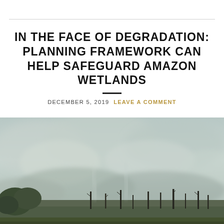IN THE FACE OF DEGRADATION: PLANNING FRAMEWORK CAN HELP SAFEGUARD AMAZON WETLANDS
DECEMBER 5, 2019  LEAVE A COMMENT
[Figure (photo): Aerial photograph of Amazon rainforest burning with heavy smoke covering the landscape, charred trees visible through the haze]